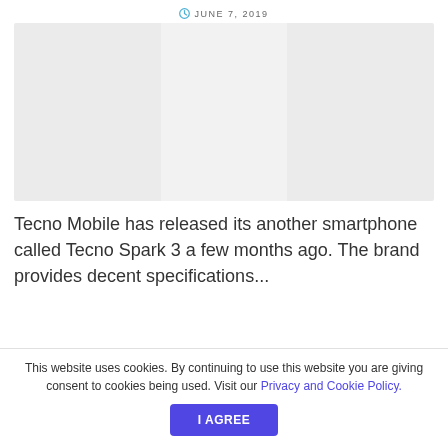JUNE 7, 2019
[Figure (photo): Placeholder image area with light gray background, likely a smartphone product photo]
Tecno Mobile has released its another smartphone called Tecno Spark 3 a few months ago. The brand provides decent specifications...
This website uses cookies. By continuing to use this website you are giving consent to cookies being used. Visit our Privacy and Cookie Policy.